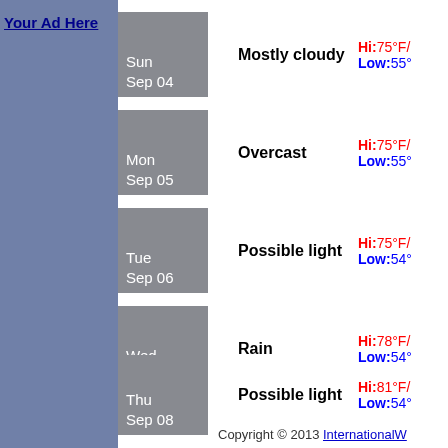Your Ad Here
Sun Sep 04 — Mostly cloudy — Hi:75°F / Low:55°
Mon Sep 05 — Overcast — Hi:75°F / Low:55°
Tue Sep 06 — Possible light — Hi:75°F / Low:54°
Wed Sep 07 — Rain — Hi:78°F / Low:54°
Thu Sep 08 — Possible light — Hi:81°F / Low:54°
Copyright © 2013 InternationalW...